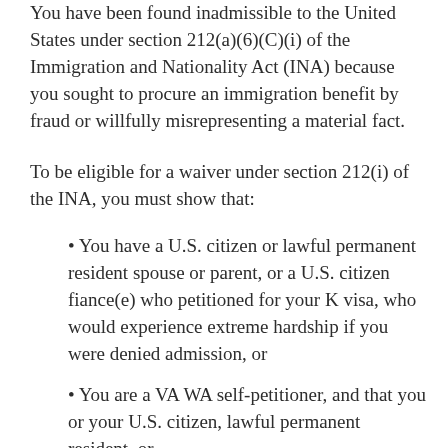You have been found inadmissible to the United States under section 212(a)(6)(C)(i) of the Immigration and Nationality Act (INA) because you sought to procure an immigration benefit by fraud or willfully misrepresenting a material fact.
To be eligible for a waiver under section 212(i) of the INA, you must show that:
You have a U.S. citizen or lawful permanent resident spouse or parent, or a U.S. citizen fiance(e) who petitioned for your K visa, who would experience extreme hardship if you were denied admission, or
You are a VA WA self-petitioner, and that you or your U.S. citizen, lawful permanent resident, or